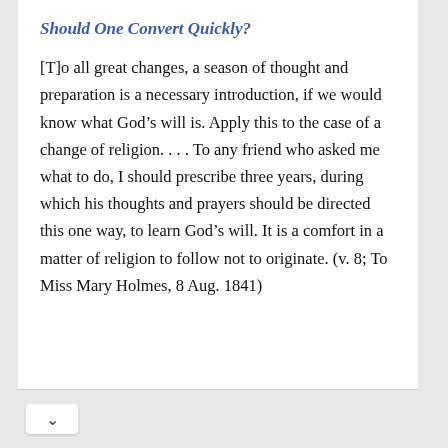Should One Convert Quickly?
[T]o all great changes, a season of thought and preparation is a necessary introduction, if we would know what God’s will is. Apply this to the case of a change of religion. . . . To any friend who asked me what to do, I should prescribe three years, during which his thoughts and prayers should be directed this one way, to learn God’s will. It is a comfort in a matter of religion to follow not to originate. (v. 8; To Miss Mary Holmes, 8 Aug. 1841)